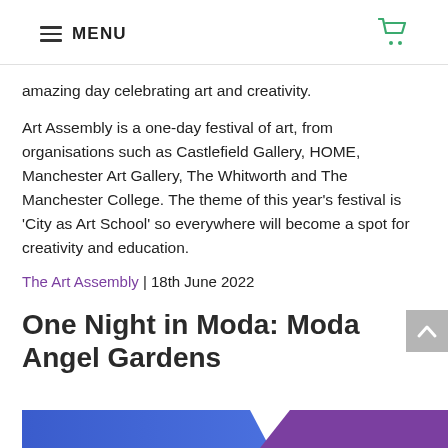MENU
amazing day celebrating art and creativity.
Art Assembly is a one-day festival of art, from organisations such as Castlefield Gallery, HOME, Manchester Art Gallery, The Whitworth and The Manchester College. The theme of this year's festival is ‘City as Art School’ so everywhere will become a spot for creativity and education.
The Art Assembly | 18th June 2022
One Night in Moda: Moda Angel Gardens
[Figure (photo): Partial image of colorful abstract/graphic design in blue and purple at bottom of page]